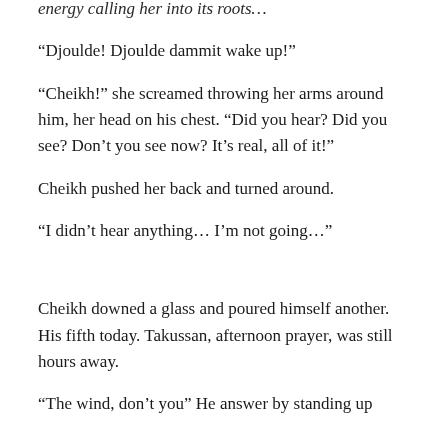energy calling her into its roots…
“Djoulde! Djoulde dammit wake up!”
“Cheikh!” she screamed throwing her arms around him, her head on his chest. “Did you hear? Did you see? Don’t you see now? It’s real, all of it!”
Cheikh pushed her back and turned around.
“I didn’t hear anything… I’m not going…”
Cheikh downed a glass and poured himself another. His fifth today. Takussan, afternoon prayer, was still hours away.
“The wind, don’t you” He answer by standing up